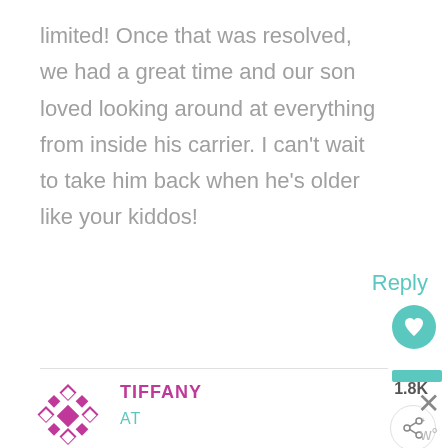limited! Once that was resolved, we had a great time and our son loved looking around at everything from inside his carrier. I can't wait to take him back when he's older like your kiddos!
Reply
1.8K
TIFFANY
AT
[Figure (screenshot): SHE CAN STEM advertisement banner with Learn More button, STEM grid logo, and Ad Council logo on dark background]